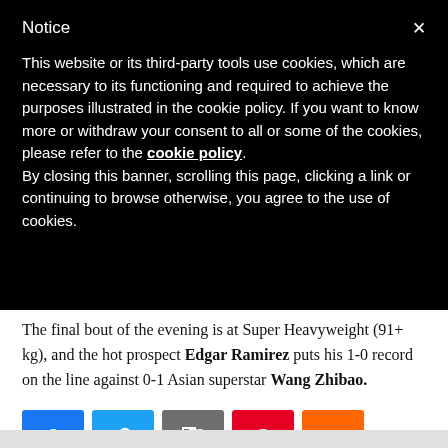Notice
This website or its third-party tools use cookies, which are necessary to its functioning and required to achieve the purposes illustrated in the cookie policy. If you want to know more or withdraw your consent to all or some of the cookies, please refer to the cookie policy. By closing this banner, scrolling this page, clicking a link or continuing to browse otherwise, you agree to the use of cookies.
The final bout of the evening is at Super Heavyweight (91+ kg), and the hot prospect Edgar Ramirez puts his 1-0 record on the line against 0-1 Asian superstar Wang Zhibao.
[Figure (other): Social sharing icons: Facebook (blue), Twitter (light blue), Share/bookmark (grey), Pinterest (red), Plus/more (orange)]